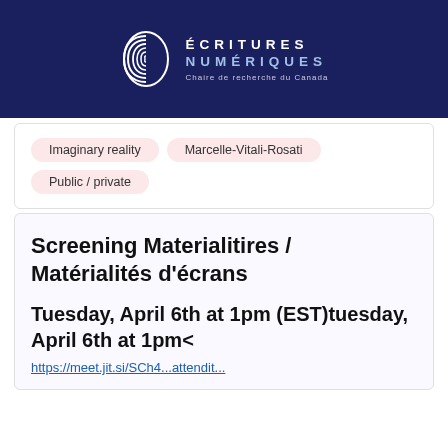ÉCRITURES NUMÉRIQUES — Chaire de recherche du Canada
Imaginary reality
Marcelle-Vitali-Rosati
Public / private
Screening Materialitires / Matérialités d'écrans
Tuesday, April 6th at 1pm (EST)tuesday, April 6th at 1pm<
https://meet.jit.si/SCh4...attendit...